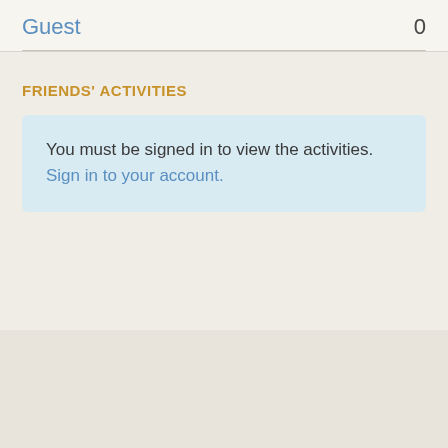Guest   0
FRIENDS' ACTIVITIES
You must be signed in to view the activities. Sign in to your account.